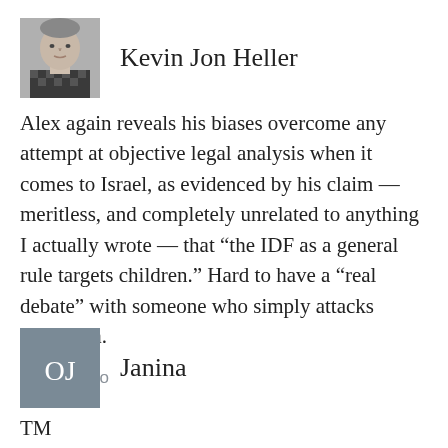[Figure (photo): Black and white profile photo of Kevin Jon Heller, a man in a checkered shirt]
Kevin Jon Heller
Alex again reveals his biases overcome any attempt at objective legal analysis when it comes to Israel, as evidenced by his claim — meritless, and completely unrelated to anything I actually wrote — that “the IDF as a general rule targets children.” Hard to have a “real debate” with someone who simply attacks strawmen.
8 years ago
[Figure (other): Gray square avatar with initials OJ for user Janina]
Janina
TM
I don’t see how an open ended comparison between two belligerents’